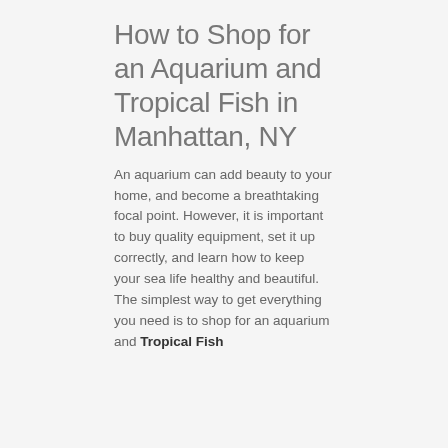How to Shop for an Aquarium and Tropical Fish in Manhattan, NY
An aquarium can add beauty to your home, and become a breathtaking focal point. However, it is important to buy quality equipment, set it up correctly, and learn how to keep your sea life healthy and beautiful. The simplest way to get everything you need is to shop for an aquarium and Tropical Fish